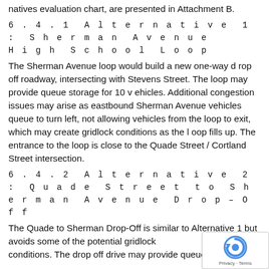natives evaluation chart, are presented in Attachment B.
6.4.1 Alternative 1: Sherman Avenue High School Loop
The Sherman Avenue loop would build a new one-way d rop off roadway, intersecting with Stevens Street. The loop may provide queue storage for 10 v ehicles. Additional congestion issues may arise as eastbound Sherman Avenue vehicles queue to turn left, not allowing vehicles from the loop to exit, which may create gridlock conditions as the l oop fills up. The entrance to the loop is close to the Quade Street / Cortland Street intersection.
6.4.2 Alternative 2: Quade Street to Sherman Avenue Drop-Off
The Quade to Sherman Drop-Off is similar to Alternative 1 but avoids some of the potential gridlock conditions. The drop off drive may provide queue st